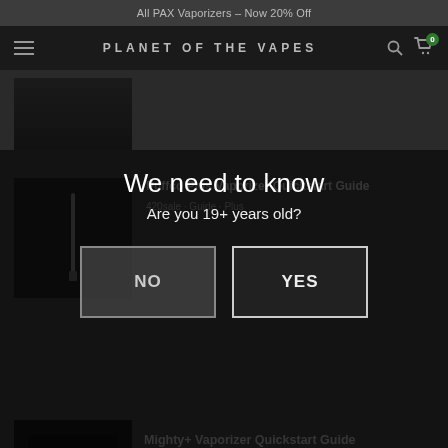All PAX Vaporizers – Now 20% Off
PLANET OF THE VAPES
[Figure (screenshot): Partial dark thumbnail image at top]
We need to know
Are you 19+ years old?
[Figure (photo): Dark product thumbnail with pen vaporizer]
Puffco Plus Vaporizer Quickstart Guide
420sale · Guide · Plus
[Figure (photo): Mighty+ vaporizer showing 384/385 display]
Mighty+ Vaporizer Quickstart Guide
420sale · Guide · Mighty+